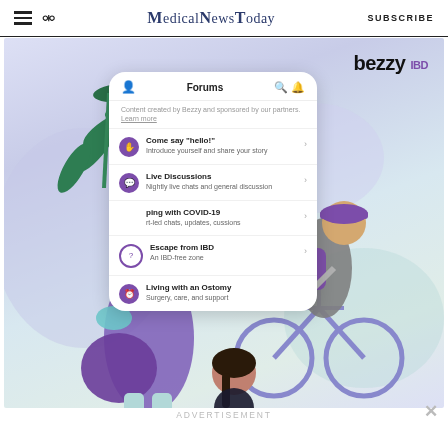MedicalNewsToday | SUBSCRIBE
[Figure (illustration): Bezzy IBD app advertisement. A colorful illustrated banner showing three diverse characters: a woman in a hijab with a purple bag eating from a bowl, a person riding a teal bicycle wearing a purple backpack, and a woman with dark hair. A phone mockup displays the Bezzy IBD Forums app interface with discussion topics: 'Come say hello!', 'Live Discussions', 'coping with COVID-19', 'Escape from IBD', 'Living with an Ostomy'. The Bezzy IBD logo appears top right. Background is light purple/lavender.]
ADVERTISEMENT